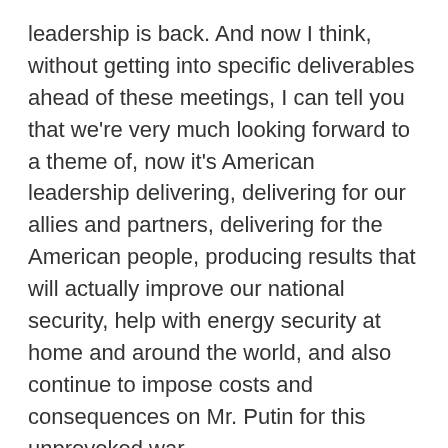leadership is back. And now I think, without getting into specific deliverables ahead of these meetings, I can tell you that we're very much looking forward to a theme of, now it's American leadership delivering, delivering for our allies and partners, delivering for the American people, producing results that will actually improve our national security, help with energy security at home and around the world, and also continue to impose costs and consequences on Mr. Putin for this unprovoked war.
VOA: Russia's envoy in Afghanistan said Moscow recognizes the Taliban...